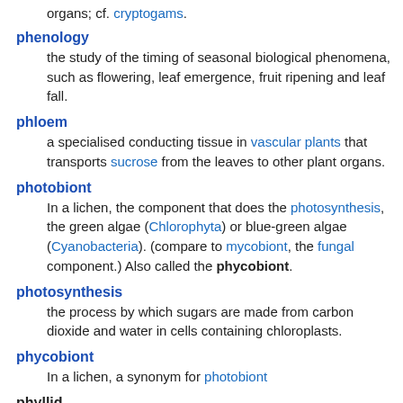organs; cf. cryptogams.
phenology
the study of the timing of seasonal biological phenomena, such as flowering, leaf emergence, fruit ripening and leaf fall.
phloem
a specialised conducting tissue in vascular plants that transports sucrose from the leaves to other plant organs.
photobiont
In a lichen, the component that does the photosynthesis, the green algae (Chlorophyta) or blue-green algae (Cyanobacteria). (compare to mycobiont, the fungal component.) Also called the phycobiont.
photosynthesis
the process by which sugars are made from carbon dioxide and water in cells containing chloroplasts.
phycobiont
In a lichen, a synonym for photobiont
phyllid